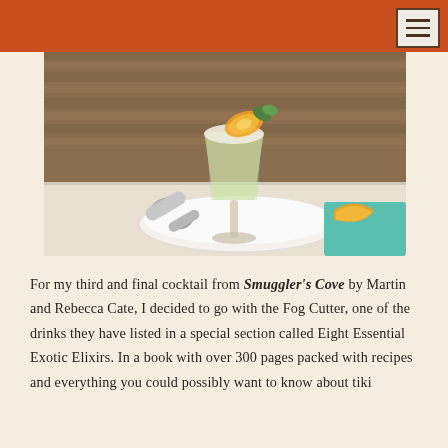[Figure (photo): A cocktail in a footed glass garnished with an orange slice and mint, on a white plate with a jigger and an orange slice on a teal napkin, set on a white surface with a wooden background.]
For my third and final cocktail from Smuggler's Cove by Martin and Rebecca Cate, I decided to go with the Fog Cutter, one of the drinks they have listed in a special section called Eight Essential Exotic Elixirs. In a book with over 300 pages packed with recipes and everything you could possibly want to know about tiki